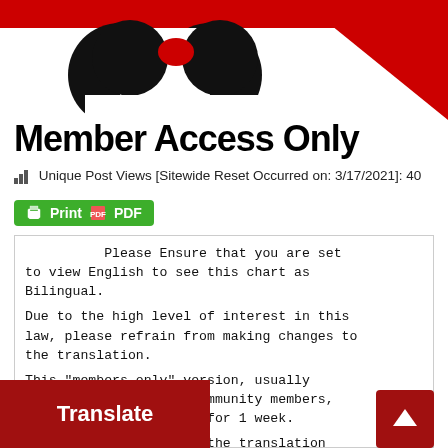[Figure (logo): Member Access Only logo with red triangle and black circular figure on white background with red bar]
Member Access Only
📊 Unique Post Views [Sitewide Reset Occurred on: 3/17/2021]: 40
[Figure (other): Green Print | PDF button]
Please Ensure that you are set to view English to see this chart as Bilingual.
Due to the high level of interest in this law, please refrain from making changes to the translation.
This "members only" version, usually restricted to active community members, [locked for 1 week.
[ed in the translation
Hong Kong, and Macao.
[Figure (other): Red Translate overlay button at bottom left]
[Figure (other): Red back-to-top arrow button at bottom right]